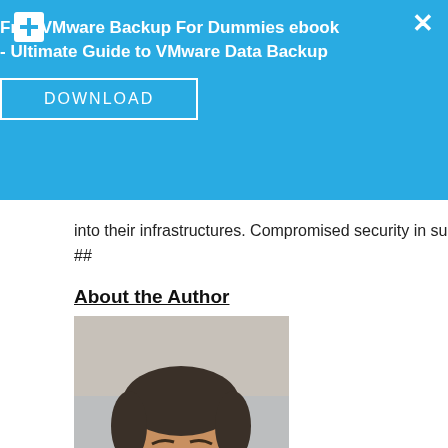[Figure (other): Advertisement banner: Free VMware Backup For Dummies ebook - Ultimate Guide to VMware Data Backup with DOWNLOAD button, blue background, plus icon and X close button]
into their infrastructures. Compromised security in such environm
##
About the Author
[Figure (photo): Headshot photo of Assaf, a middle-aged man with short dark hair, smiling, wearing a dark jacket over a light shirt]
Assaf has broad experience with embedded, networking, secu Senior Research and Development (R&D) Manager a